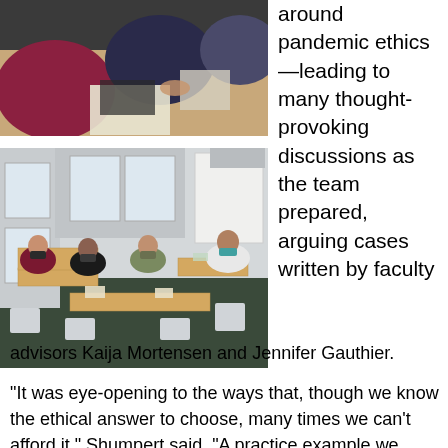[Figure (photo): People seated around a table in a meeting or discussion setting, viewed from above, with papers on the table.]
[Figure (photo): Four women wearing masks seated around a U-shaped arrangement of tables in a classroom or meeting room with windows and a whiteboard.]
around pandemic ethics—leading to many thought-provoking discussions as the team prepared, arguing cases written by faculty advisors Kaija Mortensen and Jennifer Gauthier.
“It was eye-opening to the ways that, though we know the ethical answer to choose, many times we can’t afford it,” Shumpert said. “A practice example we received involved